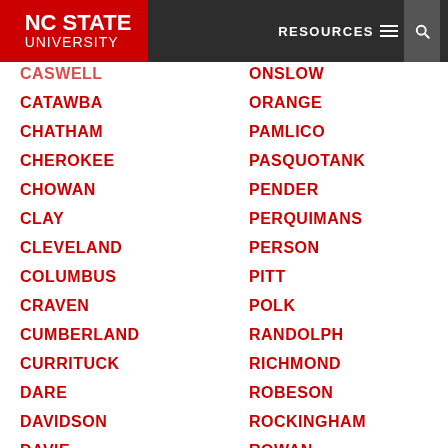NC STATE UNIVERSITY | RESOURCES
CASWELL
ONSLOW
CATAWBA
ORANGE
CHATHAM
PAMLICO
CHEROKEE
PASQUOTANK
CHOWAN
PENDER
CLAY
PERQUIMANS
CLEVELAND
PERSON
COLUMBUS
PITT
CRAVEN
POLK
CUMBERLAND
RANDOLPH
CURRITUCK
RICHMOND
DARE
ROBESON
DAVIDSON
ROCKINGHAM
DAVIE
ROWAN
DUPLIN
RUTHERFORD
DURHAM
SAMPSON
EBCI CENTER
SCOTLAND
EDGECOMBE
STANLY
STOKES